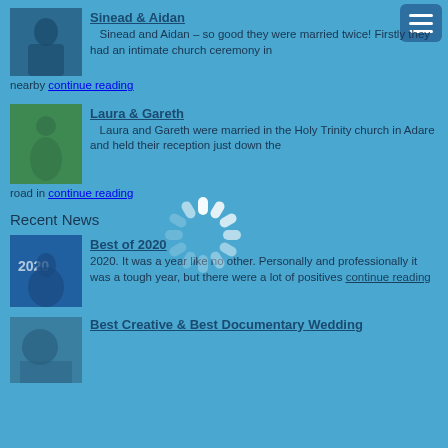[Figure (photo): Small thumbnail photo of wedding couple, dark blue tinted]
Sinead & Aidan
Sinead and Aidan – so good they were married twice! Firstly they had an intimate church ceremony in nearby continue reading
[Figure (photo): Small thumbnail photo of wedding couple outdoors, green tinted]
Laura & Gareth
Laura and Gareth were married in the Holy Trinity church in Adare and held their reception just down the road in continue reading
[Figure (other): Loading spinner icon (white spinning dash circle) overlaid on page]
Recent News
[Figure (photo): Thumbnail photo with '2020' text overlay, silhouette of couple]
Best of 2020
2020. It was a year like no other. Personally and professionally it was a tough year, but there were a lot of positives continue reading
[Figure (photo): Thumbnail photo at bottom]
Best Creative & Best Documentary Wedding